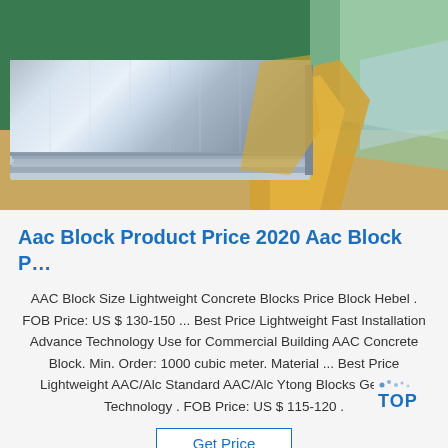[Figure (photo): Photo of stacked metal/aluminum sheets or AAC blocks with yellow/orange wrapping material and green background, industrial warehouse setting]
Aac Block Product Price 2020 Aac Block P…
AAC Block Size Lightweight Concrete Blocks Price Block Hebel . FOB Price: US $ 130-150 ... Best Price Lightweight Fast Installation Advance Technology Use for Commercial Building AAC Concrete Block. Min. Order: 1000 cubic meter. Material ... Best Price Lightweight AAC/Alc Standard AAC/Alc Ytong Blocks German Technology . FOB Price: US $ 115-120 .
Get Price